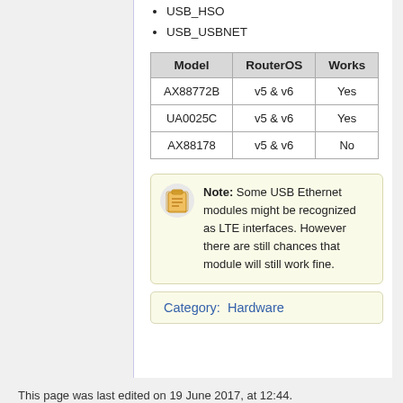USB_HSO
USB_USBNET
| Model | RouterOS | Works |
| --- | --- | --- |
| AX88772B | v5 & v6 | Yes |
| UA0025C | v5 & v6 | Yes |
| AX88178 | v5 & v6 | No |
Note: Some USB Ethernet modules might be recognized as LTE interfaces. However there are still chances that module will still work fine.
Category:  Hardware
This page was last edited on 19 June 2017, at 12:44.